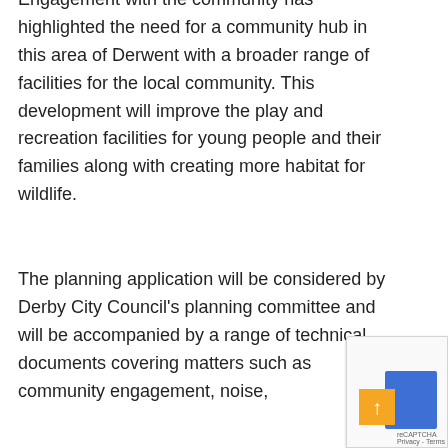Engagement with the community has highlighted the need for a community hub in this area of Derwent with a broader range of facilities for the local community. This development will improve the play and recreation facilities for young people and their families along with creating more habitat for wildlife.
The planning application will be considered by Derby City Council's planning committee and will be accompanied by a range of technical documents covering matters such as community engagement, noise,